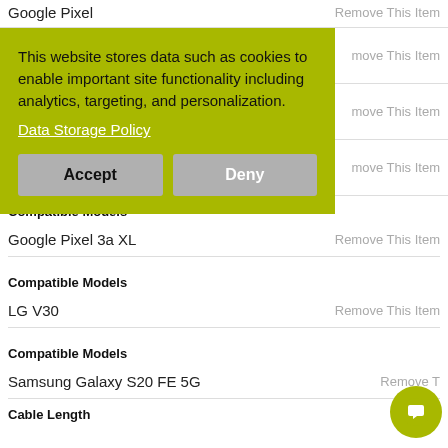Google Pixel
Remove This Item
[Figure (screenshot): Cookie consent banner with olive/yellow-green background. Text: 'This website stores data such as cookies to enable important site functionality including analytics, targeting, and personalization.' Link: 'Data Storage Policy'. Two buttons: 'Accept' and 'Deny'.]
move This Item
move This Item
move This Item
Compatible Models
Google Pixel 3a XL
Remove This Item
Compatible Models
LG V30
Remove This Item
Compatible Models
Samsung Galaxy S20 FE 5G
Remove T
Cable Length